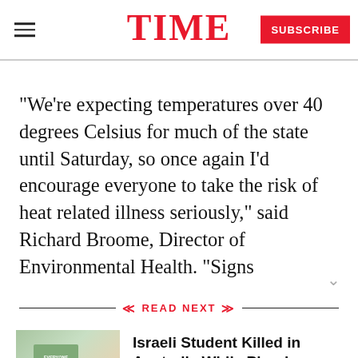TIME
“We’re expecting temperatures over 40 degrees Celsius for much of the state until Saturday, so once again I’d encourage everyone to take the risk of heat related illness seriously,” said Richard Broome, Director of Environmental Health. “Signs
READ NEXT
Israeli Student Killed in Australia While Phoning Sister